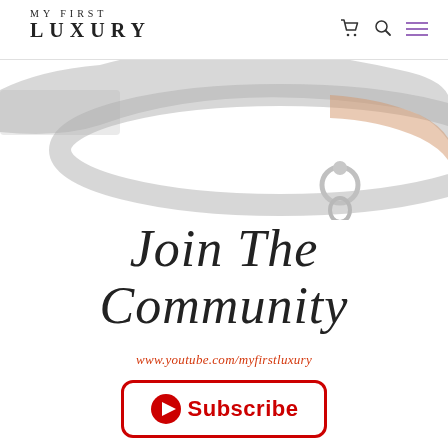MY FIRST LUXURY
[Figure (photo): Close-up photo of a luxury jewelry bracelet/bangle, silver/white gold with diamond pavé and a clasp, with rose gold accent, cropped at the top of the page]
Join The Community
www.youtube.com/myfirstluxury
[Figure (other): YouTube Subscribe button with play icon and bold red 'Subscribe' text, rounded rectangle border in red]